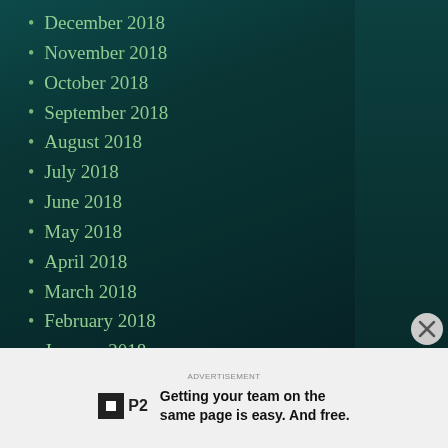December 2018
November 2018
October 2018
September 2018
August 2018
July 2018
June 2018
May 2018
April 2018
March 2018
February 2018
January 2018
December 2017
Getting your team on the same page is easy. And free.